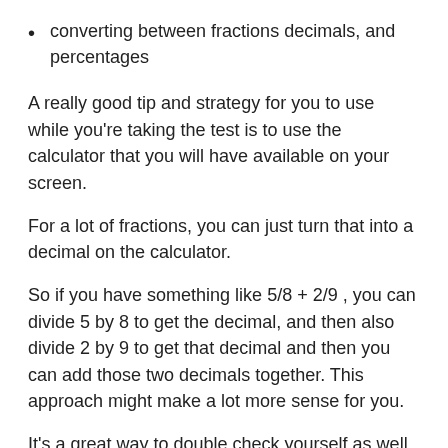converting between fractions decimals, and percentages
A really good tip and strategy for you to use while you're taking the test is to use the calculator that you will have available on your screen.
For a lot of fractions, you can just turn that into a decimal on the calculator.
So if you have something like 5/8 + 2/9 , you can divide 5 by 8 to get the decimal, and then also divide 2 by 9 to get that decimal and then you can add those two decimals together. This approach might make a lot more sense for you.
It's a great way to double check yourself as well. The only